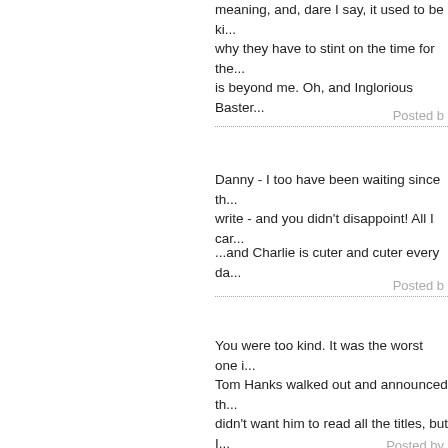meaning, and, dare I say, it used to be ki... why they have to stint on the time for the... is beyond me. Oh, and Inglorious Baster...
Posted b
Danny - I too have been waiting since th... write - and you didn't disappoint! All I car...
...and Charlie is cuter and cuter every da...
Posted b
You were too kind. It was the worst one i... Tom Hanks walked out and announced th... didn't want him to read all the titles, but I... nominees are still possible winners.
Posted by
This is the best Oscars recap that I've re... at some points... particularly this line: